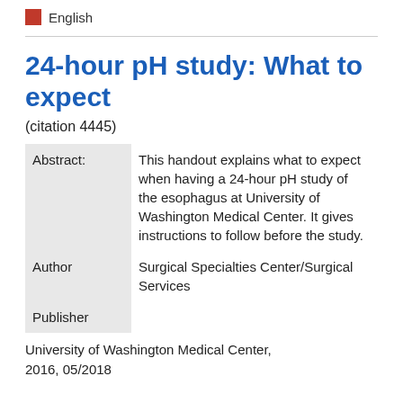English
24-hour pH study: What to expect
(citation 4445)
|  |  |
| --- | --- |
| Abstract: | This handout explains what to expect when having a 24-hour pH study of the esophagus at University of Washington Medical Center. It gives instructions to follow before the study. |
| Author | Surgical Specialties Center/Surgical Services |
| Publisher |  |
University of Washington Medical Center,
2016, 05/2018